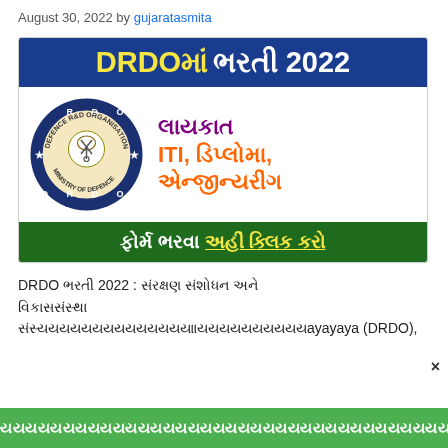August 30, 2022 by gujaratasmita
[Figure (infographic): DRDO recruitment 2022 banner image with DRDO logo. Top dark blue bar with text 'DRDOમાં ભરતી 2022'. Middle section with DRDO circular logo on left and text 'લાયકાત ITI, ડિપ્લોમા, એન્જીન્યરીંગ' in purple and orange on right. Bottom dark green bar with text 'ફોર્મ ભરવા અહીં ક્લિક કરો' in white and yellow.]
DRDO ભરતી 2022 : સંરક્ષણ સંશોધન અને વિકાસસંસ્થા સંસ્ત્યયયયયયયયયયયયયયયયયયયયયયયયયયયયયયયયયયયયસસસસસસસસસસસસ (DRDO),
યયયયયયયયયયયયયયયયયયયયયયયયયયયયયયયયયયયયયયયયયયયયયયયયયયયયયયયયયયયયયયયયયયયયયયયયયયયયયયયયયયયયયયયયયયયયયયયયયયયયયયયયયયયયયયયયયયયયયયયયયયયયયયયયયયયયયયયયયયયયયયયયયયયયયયયયયયયયયયયયયયયયયયયયયયયયયયયયયયયયયયયયયયયયયયયયયયયયયયયયયયયયયયયયયયયયયયયયયયયયયયયયયયયયયયયયયયયયયયયયયયયયયયયયયયયયયયયયયયયયયયયયયયયયયયયયયયયયયયયયયયયયયયયયયયયયયયયયયયયયયયયયયયયયયયયયયયયયયયયયયયયયયયયયયયયયયયયયયયયયયયયયયયયયયયયયયયયયયયયયયયયયયયયયયયયયયયયયયયયયયયયયયયયયયયયયયયયયયયયયયયયયયયયયયયયયયયયયયયયયયયયયયયયયયયયયયયયયયયયયયયયયયયયયયયયયયયયયયયયયયયયયયયયયયયયયયયયયયયયયયયયયયયયયયયયયયયયયયયયયયયયયયયયયયયયયયયયયયયયયયયયયયયયયયયયયિિિિિિિિિિિિિિિિિિિિિિિિિિિિિિિિિિિિિિાાાાાાાાાાાાાાાાાાાાાાાાાાાાાાાાાાાાાાિિિિિિририририририририририририририририририририририририририририририририририририририририририририририририририририририририририририририририририририририририририририририририририририририририририририририририририририририририририририририририририририририририририририририририририририририририририририририририририририририририририририририририририририририририририририририририририририририририририририририририририририририририририририририририририририририририририририририририририририририририририририририририририририририририририририририририририририририририририририририририририририририририририририририририририририририририририририририририририририририририририририририририририририририририририририририририририририририририририририририририририририририририририририририририририририририририририририририририририририририририририририририририририририририририририририририририририририририририририририририририририририририририририририририририририририририририририририририририририририририририририририририририририририририририририририририририририририририририририририририририририририририририририририририририририририририририририририририририририририририририририририририририририририририририририририририририририририририририририририририририририририририририририририририририририририририририририририририририририририририририририририририририририририририририририририририририририририририририририририририририририририририририририририририририририририририририририририририририририририририририририририририририририририририририририририририририририририририририририририририририририририририририририририририририририририририририририририририририририририририририририририририририририририририририририририририририририририририририририририририририририририририририририририририририририририририририририририририририририририририририририририририририририририририририририририририририририририририририририририририририририририририририририририририририририририририририририририририририририририририририририририририририририририририририририририририририририририририририририририририририририририририририририририририририририририририририририририририририририририририририририририририририририририририририририририририририририририририририририририририририририририририририририририририририририририририририририририририририририририририририририририририририририририририририририририририририририририририририририририририририририририририририририририририририририририририририририририририририририририририририририририририририририририририририририририририририририририририририририририририририририририририририририририририририририририририририририририририририририририририририририририририририририририририририририририририририририририририририририририририририририририририририририририририририририририририририририририририририририририририририририририририририририририририририририририририририририририририририририририририририририририририририририририририририририририририририририририририририририририририририририририририририририририририририририририририририририририририририририририририририририририририририририририририририририририририририририририририририририририририририририририририририририририририририририририририририририририририририририририририририририририририририририририририририририририририририририририририририририририририририририририририририририририририририририририририририририририририририририририририририририририририририририририририририририририририририририририририририририририририририририририририририририририририририририририририририририририририририририририририририририририририририририририририририририририририририририририририририририририририририририририририририририририририририририририририририририририририририририририририририририририририририририририририририририририририририририририририририририририририририририририририририририририририририририририририририририририририририририририририририририририририририририририририририририририририририририририририририририририририририририририририририририририририририририририририририририририририририририририририририририририририририририририририририририририририририририририририририририририририририририририририририририририририририририририририририририририририририририририририририририририририририририририририририририририририририририририририририририририририририририририририририририририририририририририририририририририририририририририририририририририририририририририририририририририририририририририририририририририририририририририририририририририририририририририририририририририририририририририририририририририририририририририририририририририририририририририририририририририририририририририририририририририририририририририририририририририририририририририририририририририририририририририририририририририририририририририририририририририририририририририририририририририририририририририририририририририририририририририририририририририририририририририририририририририририририририририририририририририририририририририририририририририририририририририририририририририририририририририририририририририририририририририририририририририририририририририририририририририририририририририририририририририририририририририририририририририририририририририририририририририририририририририририририририририририририририририририририририририририририририририририририририририририририририририририририририририририририририририририририририририририририририририририририририририририририририририририририририририририририририририририририририририририририририририририририририририририририририририририририририририририририририририририририририририририририририририририририририририририририририририририририририририририририририририририририририририририририририририририририририририририририририририририририририририририририририририририририририририририририририририририририририририририрарарараარარარარარარარარარარარარარარარარარარрараარარარარარარარარარარარარარარარარрараარარარარარარარარარარარარარარარარარარარარარარარარარარარარარარარარარარარარარარარარარარარარარარარარარარარარარარარარარარარარარარარარარარარარარარარარარარარარрараარარარარрараარარარარარარარარარარარარარარარარარარარარარარარარარარარარარარარარარარარარარარარარририририририририририририририририририририририририририририририририририририририририририририририририририририририририририририририририририририририририририририририририририририририририририририририририририририририририририририририририририририририририририририририририририририририририририририририририририририририририририририририририририририририририририририририририририририририририририририририририририририририририририририририририририририририририририририририририририририририририририририририририририририририририририририририририририририририририририририририририририририририририририририририририририририририририририририририририририририририририририририририририририририририририририририририририририририририририририририририририририририририририририририририририририририририририририририририририририририририририририририририририририририририририририририририририририририририририририририририририририририририририририририририририририририририририририририририририририририририририририририририририририририририририририририририририририририририририририририририририририририририририририририририририририририририририририририририририририририририририририририририририририририририририририририририририририририририририририририririri